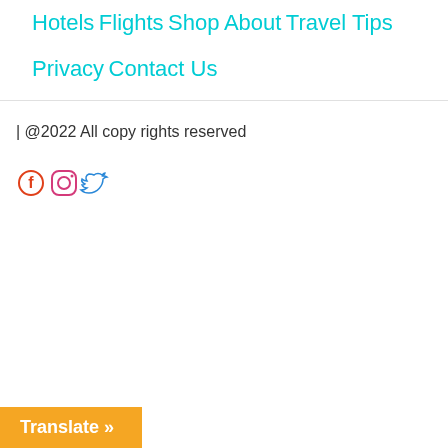Hotels
Flights
Shop
About
Travel Tips
Privacy
Contact Us
| @2022 All copy rights reserved
[Figure (infographic): Social media icons: Facebook, Instagram, Twitter]
Translate »